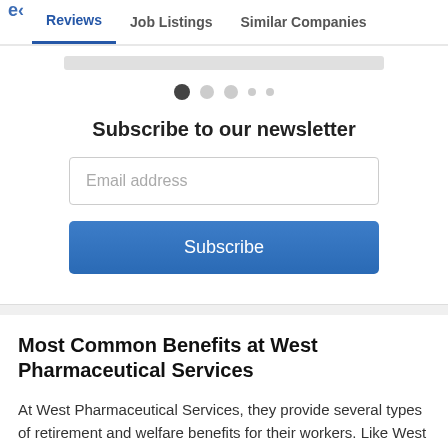Reviews  Job Listings  Similar Companies
Subscribe to our newsletter
Email address
Subscribe
Most Common Benefits at West Pharmaceutical Services
At West Pharmaceutical Services, they provide several types of retirement and welfare benefits for their workers. Like West Pharmaceutical Services